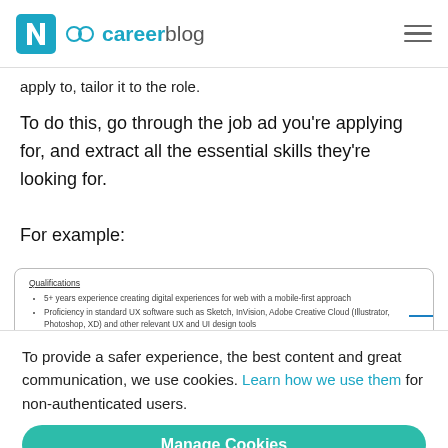careerblog
apply to, tailor it to the role.
To do this, go through the job ad you're applying for, and extract all the essential skills they're looking for.
For example:
[Figure (screenshot): A screenshot of a job posting Qualifications section listing: 5+ years experience creating digital experiences for web with a mobile-first approach; Proficiency in standard UX software such as Sketch, InVision, Adobe Creative Cloud (Illustrator, Photoshop, XD) and other relevant UX and UI design tools (with a blue arrow pointing to this item); Knowledge of user interface patterns for mobile, web and responsive design; Ability to wireframe mobile, desktop and app interfaces; Good understanding of front-end web development (HTML, CSS, Java)]
To provide a safer experience, the best content and great communication, we use cookies. Learn how we use them for non-authenticated users.
Manage Cookies